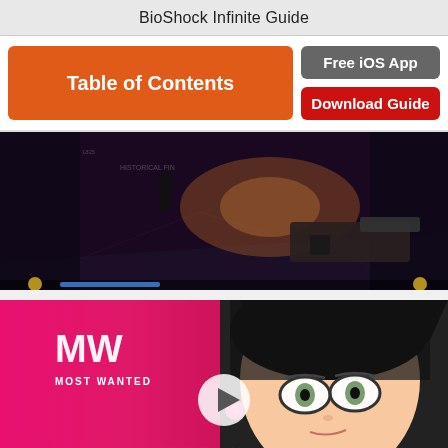BioShock Infinite Guide
Table of Contents
Free iOS App
Download Guide
[Figure (screenshot): BioShock Infinite gameplay screenshot showing a dark corridor scene with a figure in the background and a weapon in the foreground with a health bar at the bottom]
[Figure (screenshot): Bayonetta 3 Most Wanted video thumbnail showing an anime-style character with glasses and black hair, with a play button overlay and pink background with MW Most Wanted logo and BAYONETTA 3 text]